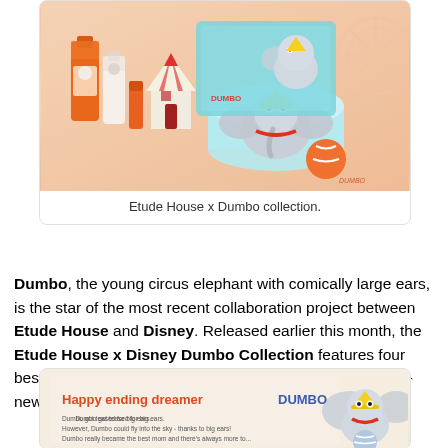[Figure (photo): Photo of Etude House x Dumbo beauty product collection laid out with circus-themed props. Products include orange bottles, tins with Dumbo illustration, on a peach/salmon background with circus tent decorations.]
Etude House x Dumbo collection.
Dumbo, the young circus elephant with comically large ears, is the star of the most recent collaboration project between Etude House and Disney. Released earlier this month, the Etude House x Disney Dumbo Collection features four best-selling items from the Moistfull Collagen line in an all-new 'Dumbo-fied' packaging.
[Figure (photo): Promotional image with Dumbo cartoon character balancing on a ball. Text reads 'Happy ending dreamer DUMBO' in orange and blue. Below reads 'Dumbo got teased for big ears. However, Dumbo could fly into the sky - thanks to big ears!' on a peach background.]